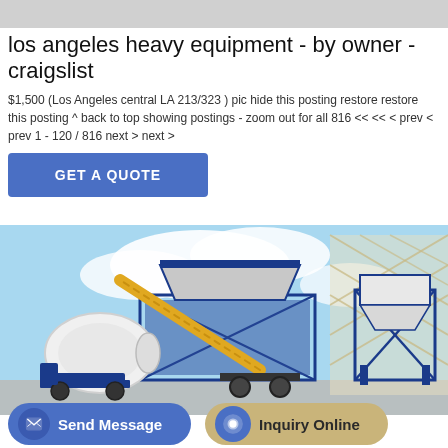los angeles heavy equipment - by owner - craigslist
$1,500 (Los Angeles central LA 213/323 ) pic hide this posting restore restore this posting ^ back to top showing postings - zoom out for all 816 << << < prev < prev 1 - 120 / 816 next > next >
GET A QUOTE
[Figure (photo): Industrial concrete batching plant / mixer equipment with blue metal frame, yellow conveyor belt, white mixing drum, set against a blue sky background with a lattice structure on the right.]
Send Message
Inquiry Online